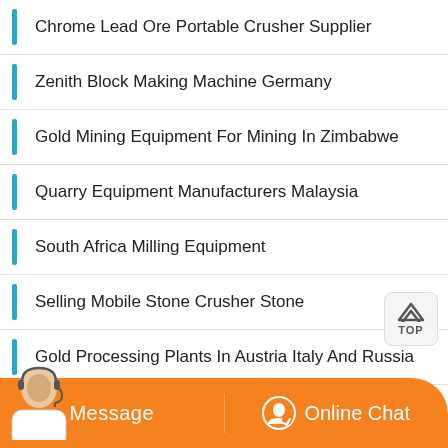Chrome Lead Ore Portable Crusher Supplier
Zenith Block Making Machine Germany
Gold Mining Equipment For Mining In Zimbabwe
Quarry Equipment Manufacturers Malaysia
South Africa Milling Equipment
Selling Mobile Stone Crusher Stone
Gold Processing Plants In Austria Italy And Russia
Mobile Crusher Plant Sale In Korea